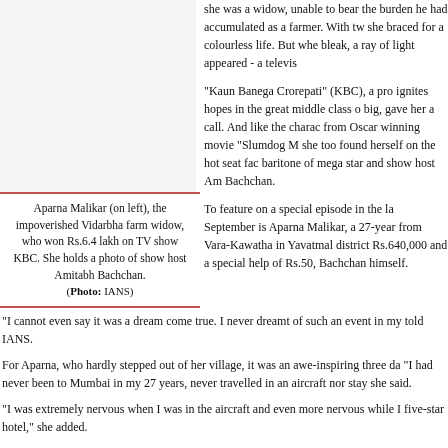she was a widow, unable to bear the burden he had accumulated as a farmer. With two sons, she braced for a colourless life. But when things looked bleak, a ray of light appeared - a television show.
"Kaun Banega Crorepati" (KBC), a programme that ignites hopes in the great middle class of India to dream big, gave her a call. And like the character Jamal from Oscar winning movie "Slumdog Millionaire", she too found herself on the hot seat facing the baritone of mega star and show host Amitabh Bachchan.
[Figure (photo): Empty image placeholder for photo of Aparna Malikar on left]
Aparna Malikar (on left), the impoverished Vidarbha farm widow, who won Rs.6.4 lakh on TV show KBC. She holds a photo of show host Amitabh Bachchan. (Photo: IANS)
To feature on a special episode in the last week of September is Aparna Malikar, a 27-year-old woman from Vara-Kawatha in Yavatmal district, who won Rs.640,000 and a special help of Rs.50,000 from Bachchan himself.
"I cannot even say it was a dream come true. I never dreamt of such an event in my life," she told IANS.
For Aparna, who hardly stepped out of her village, it was an awe-inspiring three day trip. "I had never been to Mumbai in my 27 years, never travelled in an aircraft nor stayed in a big hotel," she said.
"I was extremely nervous when I was in the aircraft and even more nervous while I was in the five-star hotel," she added.